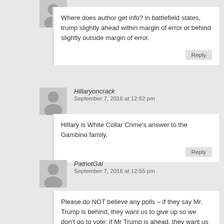Where does author get info? in battlefield states, trump slightly ahead within margin of error or behind slightly outside margin of error.
Reply
Hillaryoncrack
September 7, 2016 at 12:52 pm
Hillary is White Collar Crime’s answer to the Gambino family.
Reply
PatriotGal
September 7, 2016 at 12:55 pm
Please do NOT believe any polls – if they say Mr. Trump is behind, they want us to give up so we don’t go to vote; if Mr Trump is ahead, they want us to feel it’s not necessary for us to vote because he is so far ahead. No